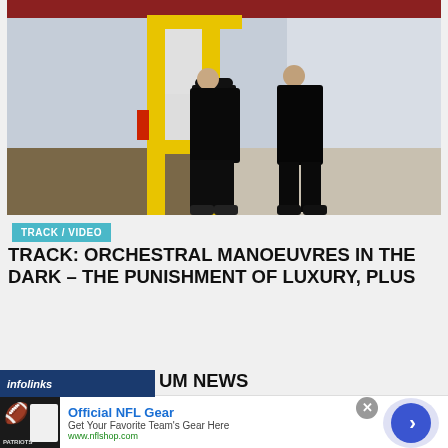[Figure (photo): Two men dressed in black standing in an industrial warehouse with yellow scaffolding structure]
TRACK / VIDEO
TRACK: ORCHESTRAL MANOEUVRES IN THE DARK – THE PUNISHMENT OF LUXURY, PLUS UM NEWS
[Figure (infographic): Infolinks advertisement overlay bar with NFL Gear ad: Official NFL Gear - Get Your Favorite Team's Gear Here - www.nflshop.com, with Patriots jersey image and blue arrow button]